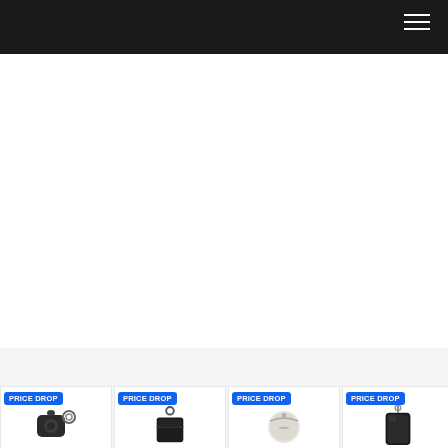Navigation header bar with hamburger menu
[Figure (screenshot): White content area, mostly blank product page background]
[Figure (screenshot): Dropdown/filter button with chevron down icon]
[Figure (screenshot): Product card row showing four items with PRICE DROP badges: leather AirPod case (black), leather keychain pouch (black), round coin purse (white/cream), phone strap case (black). Partial advertiser card on right showing triangle play icon and NOEMIE brand text.]